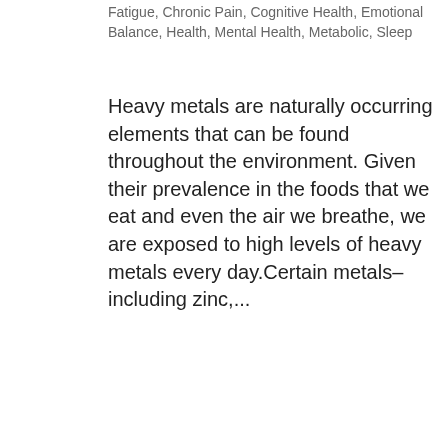Fatigue, Chronic Pain, Cognitive Health, Emotional Balance, Health, Mental Health, Metabolic, Sleep
Heavy metals are naturally occurring elements that can be found throughout the environment. Given their prevalence in the foods that we eat and even the air we breathe, we are exposed to high levels of heavy metals every day.Certain metals–including zinc,...
close
[Figure (screenshot): Chat popup widget showing a woman's avatar photo and the message 'Hi there, have a question? Text us here.' overlaid on a blue background image featuring the chemical symbol Fe (iron) with food items floating around it.]